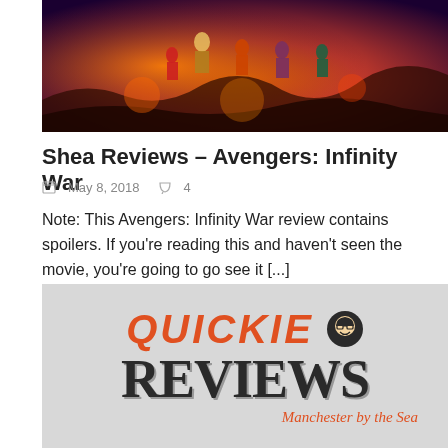[Figure (photo): Avengers: Infinity War movie banner/poster with characters against a fiery purple/orange background]
Shea Reviews – Avengers: Infinity War
May 8, 2018   4
Note: This Avengers: Infinity War review contains spoilers. If you're reading this and haven't seen the movie, you're going to go see it [...]
[Figure (logo): Quickie Reviews logo with large orange QUICKIE text, face icon, bold REVIEWS text, and subtitle Manchester by the Sea in orange italic]